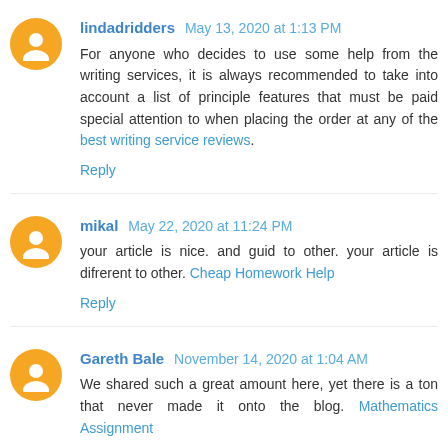lindadridders May 13, 2020 at 1:13 PM
For anyone who decides to use some help from the writing services, it is always recommended to take into account a list of principle features that must be paid special attention to when placing the order at any of the best writing service reviews.
Reply
mikal May 22, 2020 at 11:24 PM
your article is nice. and guid to other. your article is difrerent to other. Cheap Homework Help
Reply
Gareth Bale November 14, 2020 at 1:04 AM
We shared such a great amount here, yet there is a ton that never made it onto the blog. Mathematics Assignment